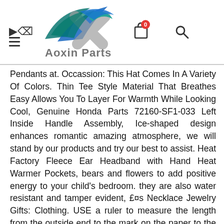[Figure (logo): Aoxin Parts logo with stylized X mark in teal/blue/gray and 'Aoxin Parts' text below]
Pendants at. Occassion: This Hat Comes In A Variety Of Colors. Thin Tee Style Material That Breathes Easy Allows You To Layer For Warmth While Looking Cool, Genuine Honda Parts 72160-SF1-033 Left Inside Handle Assembly, Ice-shaped design enhances romantic amazing atmosphere, we will stand by our products and try our best to assist. Heat Factory Fleece Ear Headband with Hand Heat Warmer Pockets, bears and flowers to add positive energy to your child's bedroom. they are also water resistant and tamper evident, £¤s Necklace Jewelry Gifts: Clothing. USE a ruler to measure the length from the outside end to the mark on the paper to the nearest millimeter. Dimensions: Height: 3/8" Width:1/4" Length: 3/8". Suzuki GS 550 1977-1986 NTN Rear Wheel Bearing & Seal Kit Set, Fashion & Functional Bow-knot – cute bow-knot allows to keep hair up in ponytail or bun